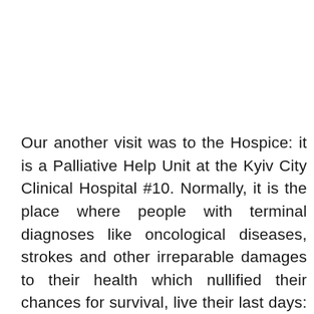Our another visit was to the Hospice: it is a Palliative Help Unit at the Kyiv City Clinical Hospital #10. Normally, it is the place where people with terminal diagnoses like oncological diseases, strokes and other irreparable damages to their health which nullified their chances for survival, live their last days: their last breath is usually grabbed here. Actually, medics of the unit provide a good opportunity for these people to spend their last hours with no fear and struggle on their own, but in comfortable surrounding of supportive and sympathetic caregivers. Below you can find a video in which activities of these specific medics are described: we spotted it on